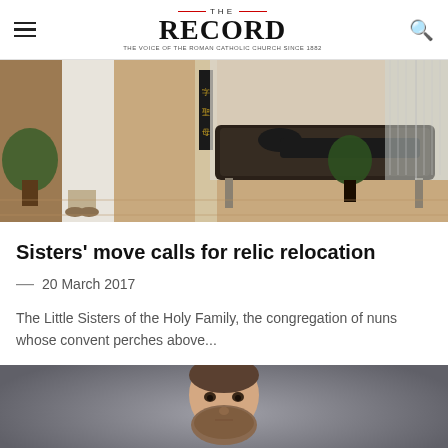THE RECORD
[Figure (photo): Interior of a funeral home or chapel showing a person in white robes standing near a casket, with plants and reflective surfaces in the background.]
Sisters' move calls for relic relocation
— 20 March 2017
The Little Sisters of the Holy Family, the congregation of nuns whose convent perches above...
[Figure (photo): Portrait of a bearded man in a denim jacket with a white shirt, photographed against a grey background.]